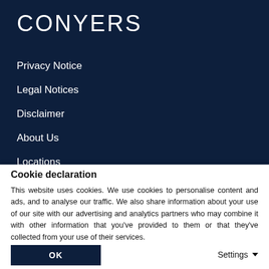CONYERS
Privacy Notice
Legal Notices
Disclaimer
About Us
Locations
People
Cookie declaration
This website uses cookies. We use cookies to personalise content and ads, and to analyse our traffic. We also share information about your use of our site with our advertising and analytics partners who may combine it with other information that you've provided to them or that they've collected from your use of their services.
OK
Settings